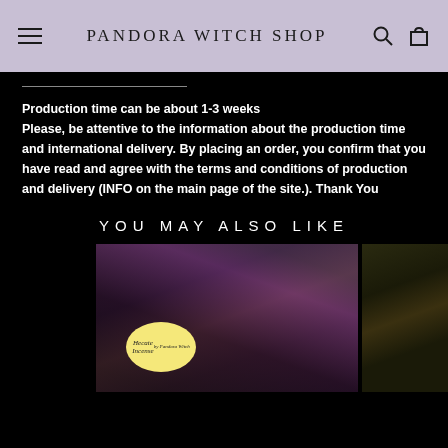PANDORA WITCH SHOP
Production time can be about 1-3 weeks
Please, be attentive to the information about the production time and international delivery. By placing an order, you confirm that you have read and agree with the terms and conditions of production and delivery (INFO on the main page of the site.). Thank You
YOU MAY ALSO LIKE
[Figure (photo): Product thumbnails showing Hecate Incense product with mystical imagery and another product partially visible on the right]